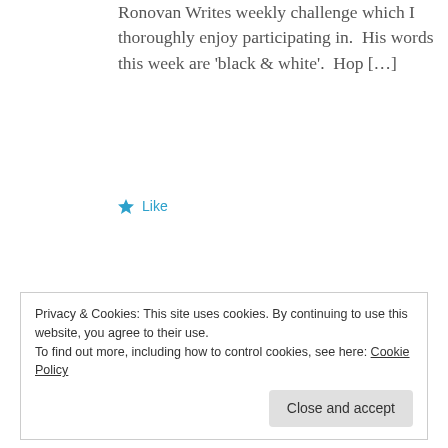Ronovan Writes weekly challenge which I thoroughly enjoy participating in.  His words this week are 'black & white'.  Hop […]
★ Like
Haiku Friday – Cake & Wolf | The Writer Next Door
December 10, 2015 at 10:19 pm
👍 0 👎 0 ℹ Rate This
Privacy & Cookies: This site uses cookies. By continuing to use this website, you agree to their use.
To find out more, including how to control cookies, see here: Cookie Policy
Close and accept